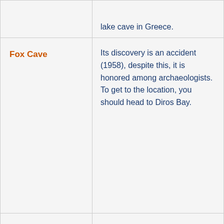| Cave Name | Description |
| --- | --- |
|  | lake cave in Greece. |
| Fox Cave | Its discovery is an accident (1958), despite this, it is honored among archaeologists. To get to the location, you should head to Diros Bay. |
| Drogarati | According to legend, this was the name of the dragon that lived here. Her age is difficult to determine. It is believed to be about a hundred million years old. Approximately 300 years ago, as a result of an earthquake, one wall collapsed, thereby opening a passage into it. This place is a must-see – beautiful views, a stable temperature of 180C, with a humidity level of about 98%, a |